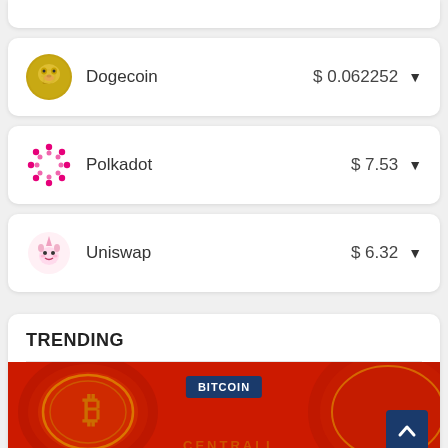Dogecoin  $ 0.062252
Polkadot  $ 7.53
Uniswap  $ 6.32
TRENDING
[Figure (photo): Bitcoin coin image on red background with BITCOIN badge overlay and scroll-up button]